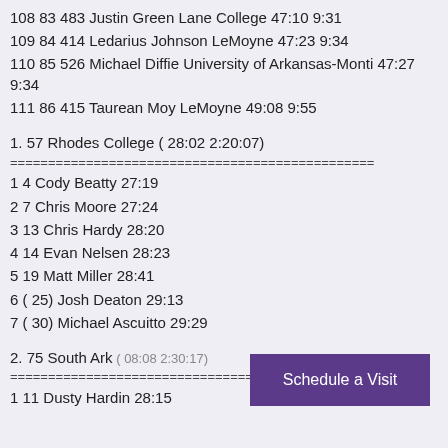108 83 483 Justin Green Lane College 47:10 9:31
109 84 414 Ledarius Johnson LeMoyne 47:23 9:34
110 85 526 Michael Diffie University of Arkansas-Monti 47:27 9:34
111 86 415 Taurean Moy LeMoyne 49:08 9:55
1. 57 Rhodes College ( 28:02 2:20:07)
=================================================
1 4 Cody Beatty 27:19
2 7 Chris Moore 27:24
3 13 Chris Hardy 28:20
4 14 Evan Nelsen 28:23
5 19 Matt Miller 28:41
6 ( 25) Josh Deaton 29:13
7 ( 30) Michael Ascuitto 29:29
2. 75 South Ark... ( 08:08 2:30:17)
=================================================
1 11 Dusty Hardin 28:15